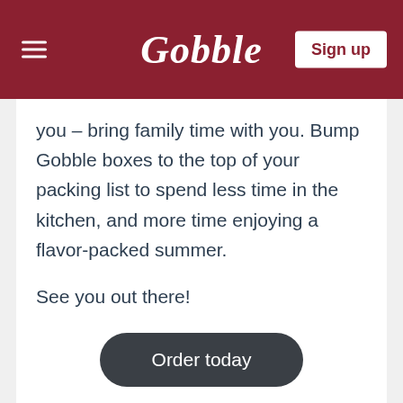Gobble | Sign up
you – bring family time with you. Bump Gobble boxes to the top of your packing list to spend less time in the kitchen, and more time enjoying a flavor-packed summer.
See you out there!
[Figure (other): Order today button — rounded dark grey pill button with white text]
Recent Posts
[Figure (photo): Close-up photo of colorful cherry tomatoes (red, yellow, orange) in blue/teal cardboard pint baskets at a market]